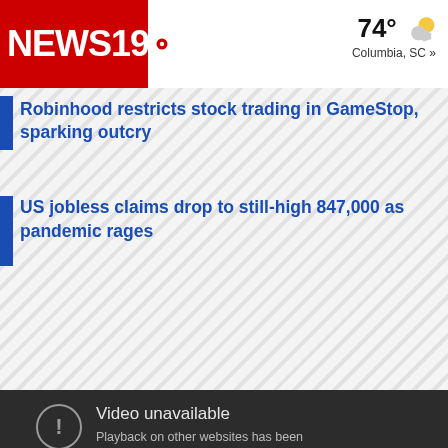NEWS19 | 74° Columbia, SC »
Robinhood restricts stock trading in GameStop, sparking outcry
US jobless claims drop to still-high 847,000 as pandemic rages
[Figure (screenshot): Embedded video player showing 'Video unavailable' error message: 'Playback on other websites has been disabled by the video owner. Watch on YouTube.']